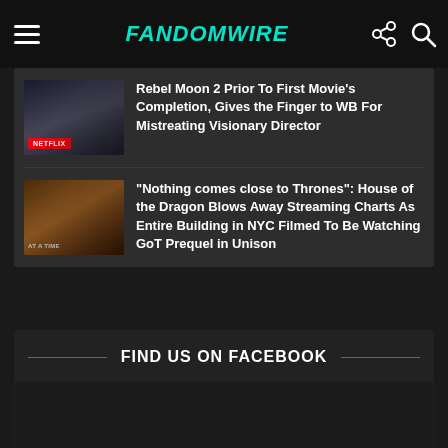FandomWire
[Figure (photo): Netflix movie thumbnail showing a dark cityscape]
Rebel Moon 2 Prior To First Movie's Completion, Gives the Finger to WB For Mistreating Visionary Director
[Figure (photo): House of the Dragon character in medieval costume]
“Nothing comes close to Thrones”: House of the Dragon Blows Away Streaming Charts As Entire Building in NYC Filmed To Be Watching GoT Prequel in Unison
FIND US ON FACEBOOK